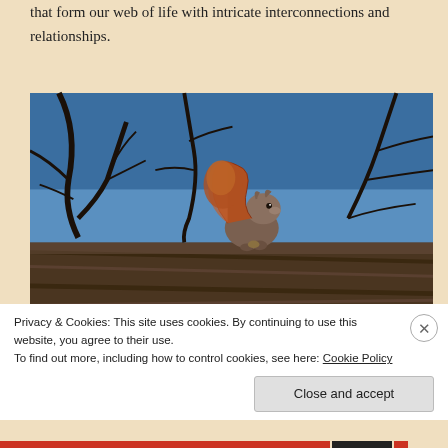that form our web of life with intricate interconnections and relationships.
[Figure (photo): A squirrel sitting on a large tree branch, photographed from below against a bright blue sky. The squirrel has a reddish-brown fluffy tail and is holding something in its front paws. Bare dark tree branches extend across the upper portion of the image.]
Privacy & Cookies: This site uses cookies. By continuing to use this website, you agree to their use.
To find out more, including how to control cookies, see here: Cookie Policy
Close and accept